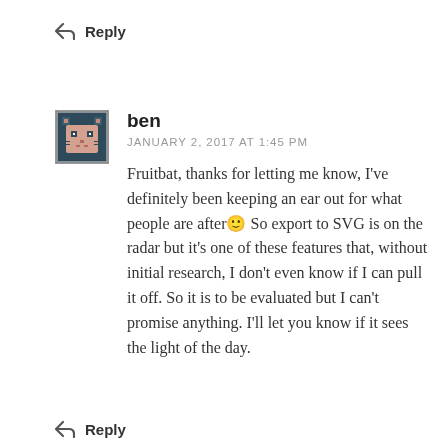↩ Reply
[Figure (illustration): Pixel art avatar of a cat/animal face in pinkish tones on dark background, with a border]
ben
JANUARY 2, 2017 AT 1:45 PM
Fruitbat, thanks for letting me know, I've definitely been keeping an ear out for what people are after🙂 So export to SVG is on the radar but it's one of these features that, without initial research, I don't even know if I can pull it off. So it is to be evaluated but I can't promise anything. I'll let you know if it sees the light of the day.
↩ Reply